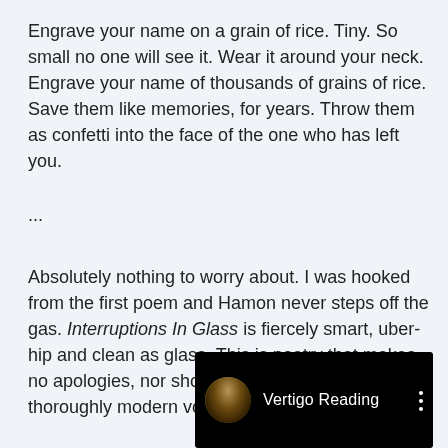Engrave your name on a grain of rice.  Tiny.  So small no one will see it.  Wear it around your neck.  Engrave your name of thousands of grains of rice.  Save them like memories, for years.  Throw them as confetti into the face of the one who has left you.
...
Absolutely nothing to worry about.  I was hooked from the first poem and Hamon never steps off the gas.  Interruptions In Glass is fiercely smart, uber-hip and clean as glass.  This is poetry that makes no apologies, nor should it, for Tracy Hamon's thoroughly modern voice.
[Figure (screenshot): Video thumbnail showing a circular avatar of a person with dark hair on a black background, with the text 'Vertigo Reading' and a three-dot menu icon in white.]